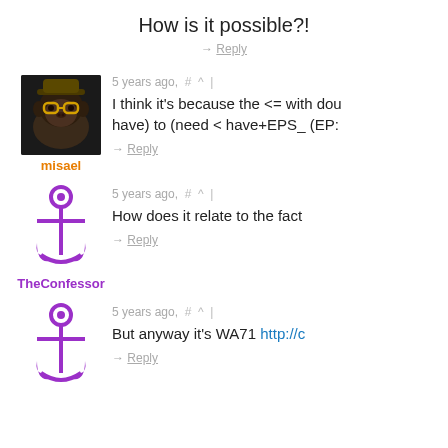How is it possible?!
→ Reply
5 years ago,  #  ^  |
I think it's because the <= with dou have) to (need < have+EPS_ (EP:
→ Reply
misael
5 years ago,  #  ^  |
How does it relate to the fact
→ Reply
TheConfessor
5 years ago,  #  ^  |
But anyway it's WA71 http://c
→ Reply